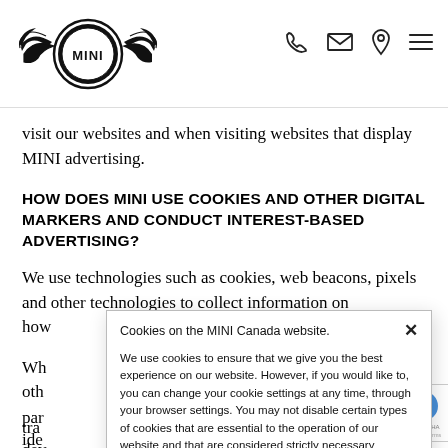[Figure (logo): MINI logo with wings emblem and navigation icons (phone, envelope, location pin, hamburger menu)]
visit our websites and when visiting websites that display MINI advertising.
HOW DOES MINI USE COOKIES AND OTHER DIGITAL MARKERS AND CONDUCT INTEREST-BASED ADVERTISING?
We use technologies such as cookies, web beacons, pixels and other technologies to collect information on how users navigate our websites and respond to our products and services.
When you visit our websites, we, along with our third-party service providers, may also use cookies and other tracking technologies to identify and track your device across devices.
Cookies on the MINI Canada website.

We use cookies to ensure that we give you the best experience on our website. However, if you would like to, you can change your cookie settings at any time, through your browser settings. You may not disable certain types of cookies that are essential to the operation of our website and that are considered strictly necessary cookies. For example, we use strictly necessary cookies to provide you with regional pricing information. You can find detailed information about how cookies are used on this website by clicking here.